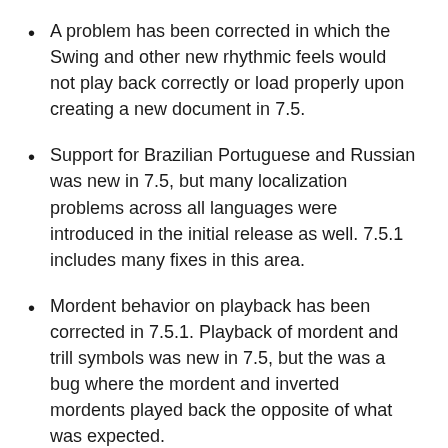A problem has been corrected in which the Swing and other new rhythmic feels would not play back correctly or load properly upon creating a new document in 7.5.
Support for Brazilian Portuguese and Russian was new in 7.5, but many localization problems across all languages were introduced in the initial release as well. 7.5.1 includes many fixes in this area.
Mordent behavior on playback has been corrected in 7.5.1. Playback of mordent and trill symbols was new in 7.5, but the was a bug where the mordent and inverted mordents played back the opposite of what was expected.
A regression in 7.5 involving ties not playing back in bars using the 1-, 2-, and 4-bar repeat